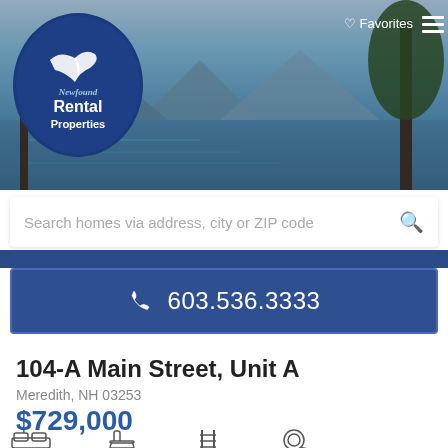[Figure (screenshot): Newfound Rental Properties website header banner with lake and mountain background scenery]
Newfound Rental Properties | Favorites | Menu
Search homes via address, city or ZIP code
603.536.3333
104-A Main Street, Unit A
Meredith, NH 03253
$729,000